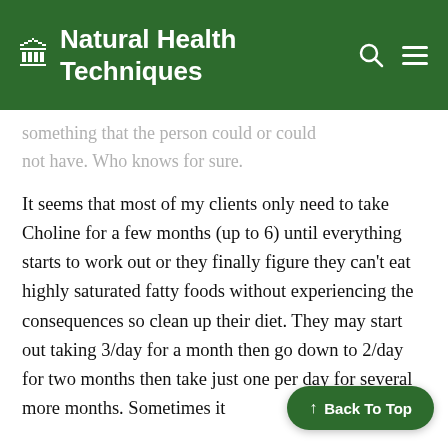Natural Health Techniques
something that the person could or could not have. Who knows for sure.
It seems that most of my clients only need to take Choline for a few months (up to 6) until everything starts to work out or they finally figure they can’t eat highly saturated fatty foods without experiencing the consequences so clean up their diet. They may start out taking 3/day for a month then go down to 2/day for two months then take just one per day for several more months. Sometimes it